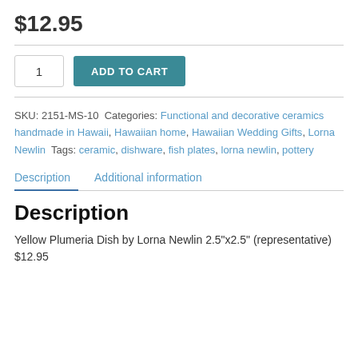$12.95
SKU: 2151-MS-10 Categories: Functional and decorative ceramics handmade in Hawaii, Hawaiian home, Hawaiian Wedding Gifts, Lorna Newlin Tags: ceramic, dishware, fish plates, lorna newlin, pottery
Description
Yellow Plumeria Dish by Lorna Newlin 2.5"x2.5" (representative)
$12.95